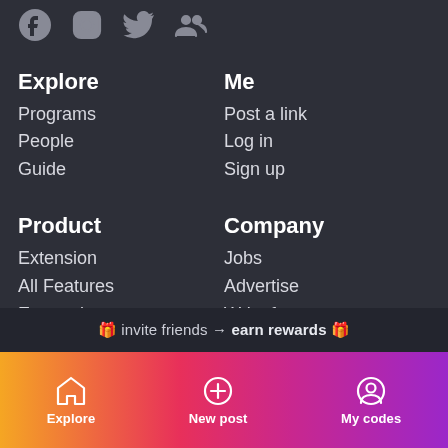[Figure (other): Social media icons row: Facebook, Instagram, Twitter, Groups]
Explore
Programs
People
Guide
Me
Post a link
Log in
Sign up
Product
Extension
All Features
Earn coins
Refer a Friend
Influencers
For Businesses
Help
Company
Jobs
Advertise
Write for us
🎁 invite friends → earn rewards 🎁
Explore   New post   My codes